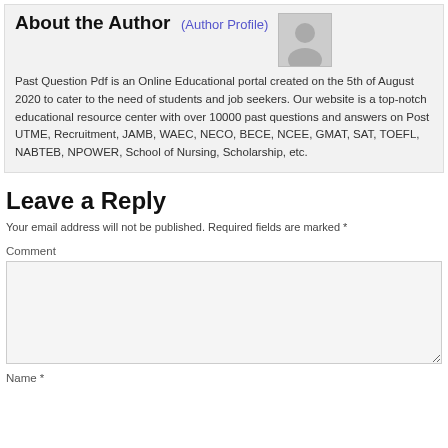About the Author (Author Profile)
Past Question Pdf is an Online Educational portal created on the 5th of August 2020 to cater to the need of students and job seekers. Our website is a top-notch educational resource center with over 10000 past questions and answers on Post UTME, Recruitment, JAMB, WAEC, NECO, BECE, NCEE, GMAT, SAT, TOEFL, NABTEB, NPOWER, School of Nursing, Scholarship, etc.
Leave a Reply
Your email address will not be published. Required fields are marked *
Comment
Name *